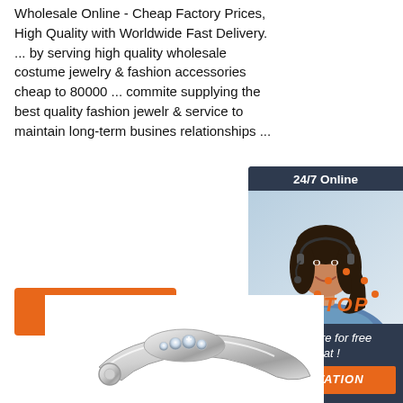Wholesale Online - Cheap Factory Prices, High Quality with Worldwide Fast Delivery. ... by serving high quality wholesale costume jewelry & fashion accessories cheap to 80000 ... commite supplying the best quality fashion jewelr & service to maintain long-term busines relationships ...
[Figure (other): Chat widget with smiling woman wearing headset, dark blue background, text '24/7 Online', 'Click here for free chat!', and orange QUOTATION button]
[Figure (other): Orange 'Get Price' button]
[Figure (other): Orange 'TOP' badge with dot decorations]
[Figure (photo): Silver jewelry item at bottom of page]